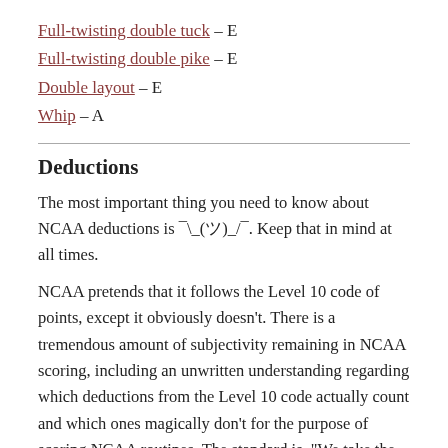Full-twisting double tuck – E
Full-twisting double pike – E
Double layout – E
Whip – A
Deductions
The most important thing you need to know about NCAA deductions is ¯\_(ツ)_/¯. Keep that in mind at all times.
NCAA pretends that it follows the Level 10 code of points, except it obviously doesn't. There is a tremendous amount of subjectivity remaining in NCAA scoring, including an unwritten understanding regarding which deductions from the Level 10 code actually count and which ones magically don't for the purpose of scoring NCAA routines. The standard is, "We take the Level 10 code of points, and then just ignore all of it. The